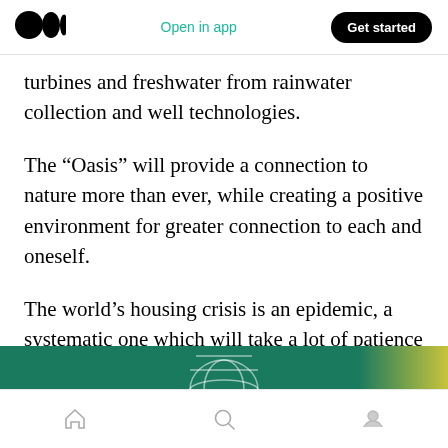Medium app header with logo, Open in app, Get started
turbines and freshwater from rainwater collection and well technologies.
The “Oasis” will provide a connection to nature more than ever, while creating a positive environment for greater connection to each and oneself.
The world’s housing crisis is an epidemic, a systematic one which will take a lot of patience and discipline to solve.
[Figure (photo): Green banner image partially visible at bottom of screen, appears to show a geometric/globe design]
Bottom navigation bar with home, search, and profile icons